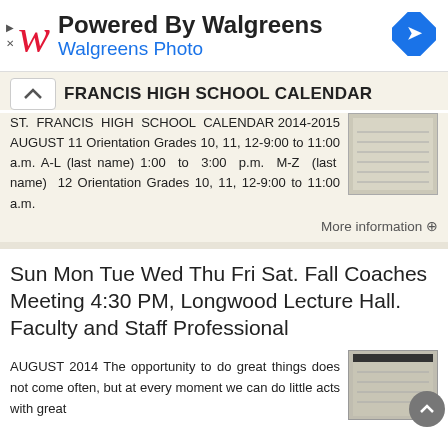[Figure (logo): Walgreens ad banner with logo, 'Powered By Walgreens' heading, 'Walgreens Photo' subheading, and navigation icon]
FRANCIS HIGH SCHOOL CALENDAR
ST. FRANCIS HIGH SCHOOL CALENDAR 2014-2015 AUGUST 11 Orientation Grades 10, 11, 12-9:00 to 11:00 a.m. A-L (last name) 1:00 to 3:00 p.m. M-Z (last name) 12 Orientation Grades 10, 11, 12-9:00 to 11:00 a.m.
More information ⊙
Sun Mon Tue Wed Thu Fri Sat. Fall Coaches Meeting 4:30 PM, Longwood Lecture Hall. Faculty and Staff Professional
AUGUST 2014 The opportunity to do great things does not come often, but at every moment we can do little acts with great